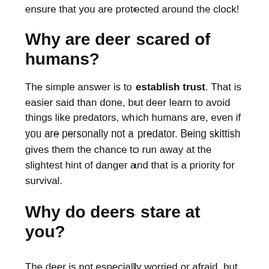ensure that you are protected around the clock!
Why are deer scared of humans?
The simple answer is to establish trust. That is easier said than done, but deer learn to avoid things like predators, which humans are, even if you are personally not a predator. Being skittish gives them the chance to run away at the slightest hint of danger and that is a priority for survival.
Why do deers stare at you?
The deer is not especially worried or afraid, but